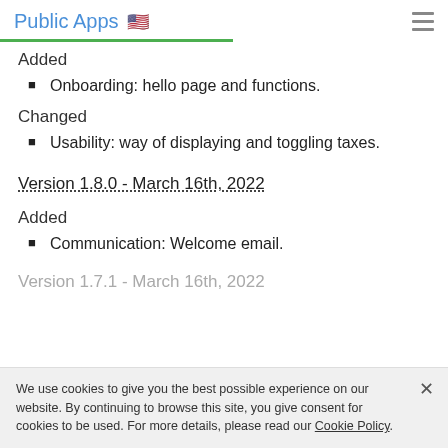Public Apps 🇺🇸
Added
Onboarding: hello page and functions.
Changed
Usability: way of displaying and toggling taxes.
Version 1.8.0 - March 16th, 2022
Added
Communication: Welcome email.
Version 1.7.1 - March 16th, 2022
We use cookies to give you the best possible experience on our website. By continuing to browse this site, you give consent for cookies to be used. For more details, please read our Cookie Policy.